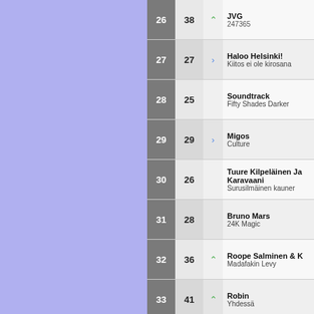26 | 38 | up | JVG | 247365
27 | 27 | same | Haloo Helsinki! | Kiitos ei ole kirosana
28 | 25 | | Soundtrack | Fifty Shades Darker
29 | 29 | same | Migos | Culture
30 | 26 | | Tuure Kilpeläinen Ja Karavaani | Surusilmäinen kauner
31 | 28 | | Bruno Mars | 24K Magic
32 | 36 | up | Roope Salminen & K | Madafakin Levy
33 | 41 | up | Robin | Yhdessä
34 | 32 | | Post Malone | Stoney